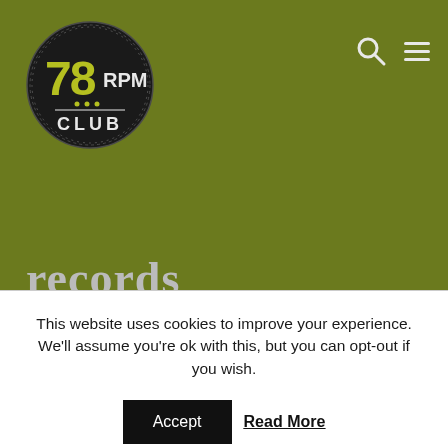[Figure (logo): 78 RPM Club circular logo with black background and olive/yellow text]
records
This website uses cookies to improve your experience. We'll assume you're ok with this, but you can opt-out if you wish.
Accept   Read More
The Duke/Peacock family of labels (which also included Back Beat